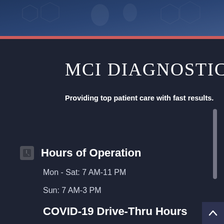[Figure (photo): Header banner image with blue-toned medical/science background showing laboratory equipment and hexagonal patterns]
MCI DIAGNOSTIC
Providing top patient care with fast results.
Hours of Operation
Mon - Sat: 7 AM-11 PM
Sun: 7 AM-3 PM
COVID-19 Drive-Thru Hours